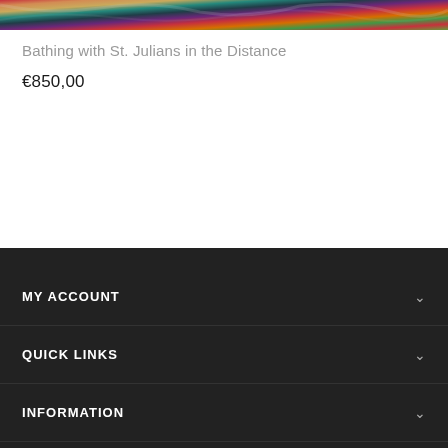[Figure (photo): Colorful painted artwork strip at top of page with vibrant reds, yellows, greens, purples]
Bathing with St. Julians in the Distance
€850,00
MY ACCOUNT
QUICK LINKS
INFORMATION